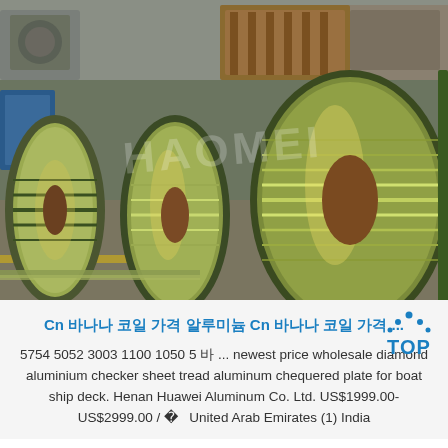[Figure (photo): Industrial factory floor showing large rolls/coils of aluminum sheets with green/gold reflective surface, arranged horizontally. Watermark text 'HAOMEI' overlaid on image.]
Cn 알루미늄 코일 가격 알루미늄 Cn 알루미늄 코일 가격 ...
5754 5052 3003 1100 1050 5 바 ... newest price wholesale diamond aluminium checker sheet tread aluminum chequered plate for boat ship deck. Henan Huawei Aluminum Co. Ltd. US$1999.00-US$2999.00 / 톤 United Arab Emirates (1) India